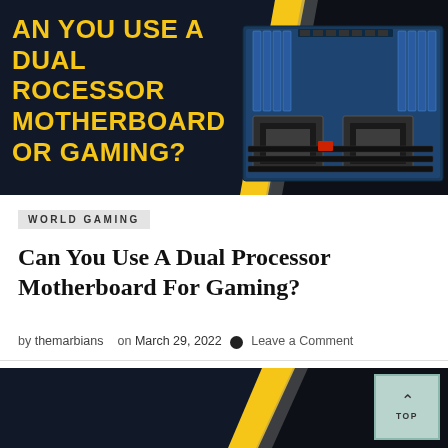[Figure (illustration): Dark banner image with yellow bold text reading 'CAN YOU USE A DUAL PROCESSOR MOTHERBOARD FOR GAMING?' on the left with a yellow/gray diagonal accent and a dual-processor motherboard photo on the right against a dark background]
WORLD GAMING
Can You Use A Dual Processor Motherboard For Gaming?
by themarbians   on  March 29, 2022   💬  Leave a Comment
[Figure (illustration): Partial bottom banner similar to the top banner, dark background with yellow diagonal accent, partially visible]